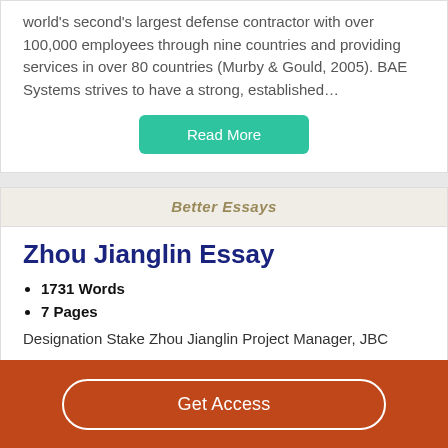world's second's largest defense contractor with over 100,000 employees through nine countries and providing services in over 80 countries (Murby & Gould, 2005). BAE Systems strives to have a strong, established…
Read More
Better Essays
Zhou Jianglin Essay
1731 Words
7 Pages
Designation Stake Zhou Jianglin Project Manager, JBC
Get Access